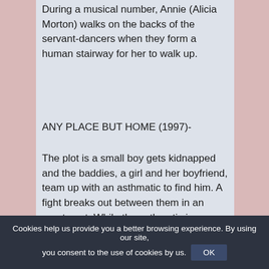During a musical number, Annie (Alicia Morton) walks on the backs of the servant-dancers when they form a human stairway for her to walk up.
ANY PLACE BUT HOME (1997)-
The plot is a small boy gets kidnapped and the baddies, a girl and her boyfriend, team up with an asthmatic to find him. A fight breaks out between them in an apartment. While the asthmatic is throttling her boyfriend she sneaks up behind and breaks a broom handle over his back. Her boyfriend then thumps him in the stomach and he collapses onto the floor gasping for breath. He reaches for his inhaler from his pocket body and crushes the inhaler under her shoe. He slumps down on
Cookies help us provide you a better browsing experience. By using our site, you consent to the use of cookies by us.